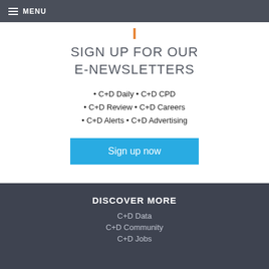MENU
SIGN UP FOR OUR E-NEWSLETTERS
• C+D Daily • C+D CPD • C+D Review • C+D Careers • C+D Alerts • C+D Advertising
Sign up now
DISCOVER MORE
C+D Data
C+D Community
C+D Jobs